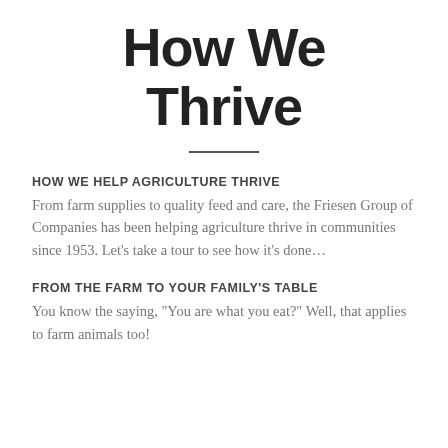How We Thrive
HOW WE HELP AGRICULTURE THRIVE
From farm supplies to quality feed and care, the Friesen Group of Companies has been helping agriculture thrive in communities since 1953. Let’s take a tour to see how it’s done…
FROM THE FARM TO YOUR FAMILY’S TABLE
You know the saying, “You are what you eat?” Well, that applies to farm animals too!